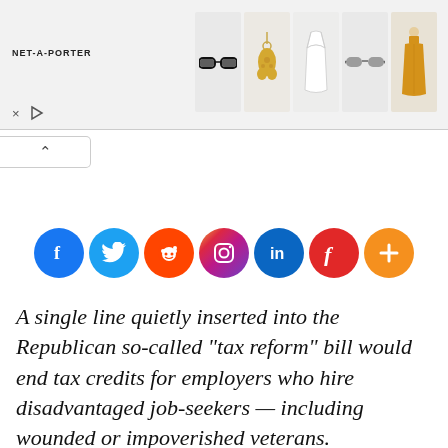[Figure (screenshot): NET-A-PORTER advertisement banner showing fashion products: black sunglasses, gold bear pendant, white lace dress, grey sunglasses, yellow long dress. Has X close button and play button controls.]
[Figure (infographic): Row of social sharing icons: Facebook (blue), Twitter (light blue), Reddit (orange-red), Instagram (gradient), LinkedIn (blue), Flipboard (red), More/Plus (orange)]
A single line quietly inserted into the Republican so-called "tax reform" bill would end tax credits for employers who hire disadvantaged job-seekers — including wounded or impoverished veterans.